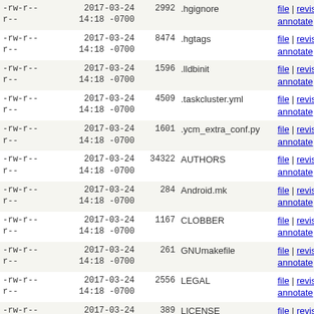| permissions | date | size | filename | links |
| --- | --- | --- | --- | --- |
| -rw-r--r-- | 2017-03-24 14:18 -0700 | 2992 | .hgignore | file | revisions | annotate |
| -rw-r--r-- | 2017-03-24 14:18 -0700 | 8474 | .hgtags | file | revisions | annotate |
| -rw-r--r-- | 2017-03-24 14:18 -0700 | 1596 | .lldbinit | file | revisions | annotate |
| -rw-r--r-- | 2017-03-24 14:18 -0700 | 4509 | .taskcluster.yml | file | revisions | annotate |
| -rw-r--r-- | 2017-03-24 14:18 -0700 | 1601 | .ycm_extra_conf.py | file | revisions | annotate |
| -rw-r--r-- | 2017-03-24 14:18 -0700 | 34322 | AUTHORS | file | revisions | annotate |
| -rw-r--r-- | 2017-03-24 14:18 -0700 | 284 | Android.mk | file | revisions | annotate |
| -rw-r--r-- | 2017-03-24 14:18 -0700 | 1167 | CLOBBER | file | revisions | annotate |
| -rw-r--r-- | 2017-03-24 14:18 -0700 | 261 | GNUmakefile | file | revisions | annotate |
| -rw-r--r-- | 2017-03-24 14:18 -0700 | 2556 | LEGAL | file | revisions | annotate |
| -rw-r--r-- | 2017-03-24 14:18 -0700 | 389 | LICENSE | file | revisions | annotate |
| -rw-r--r-- | 2017-03-24 14:18 -0700 | 12575 | Makefile.in | file | revisions | annotate |
| -rw-r--r-- | 2017-03-24 14:18 -0700 | 1275 | README.txt | file | revisions | annotate |
| -rw-r--r-- | 2017-03-24 14:18 -0700 | 1645 | aclocal.m4 | file | revisions | annotate |